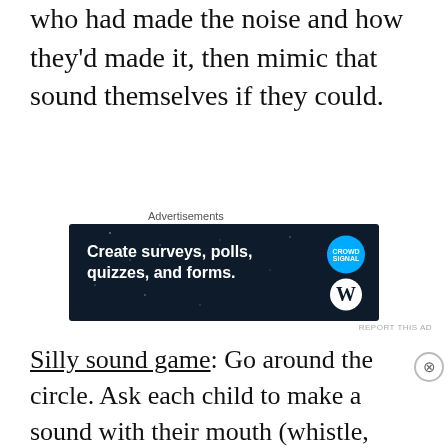who had made the noise and how they'd made it, then mimic that sound themselves if they could.
[Figure (screenshot): Advertisement banner: dark navy background with text 'Create surveys, polls, quizzes, and forms.' with WordPress and Crowdsignal logos]
Silly sound game: Go around the circle. Ask each child to make a sound with their mouth (whistle, hum, blow a raspberry, click tongue, and so on) or hands (clap, snap, clap legs, etc.) Other children try to copy. This works better with kids
[Figure (screenshot): MAC cosmetics advertisement showing lipsticks with 'SHOP NOW' button]